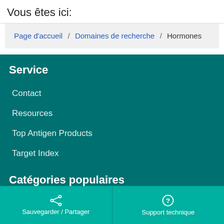Vous êtes ici:
Page d'accueil / Domaines de recherche / Hormones
Service
Contact
Resources
Top Antigen Products
Target Index
Catégories populaires
Sauvegarder / Partager | Support technique